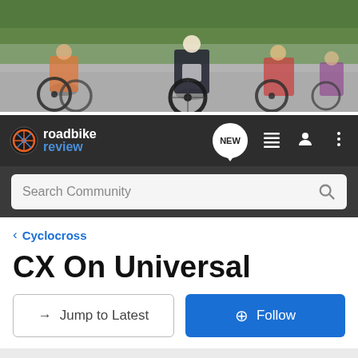[Figure (photo): Hero banner photo of cyclists racing on road, blurred background with green foliage]
[Figure (logo): Road Bike Review logo — stylized wheel icon with orange/blue coloring, text 'roadbike review' in white and blue]
Search Community
< Cyclocross
CX On Universal
→ Jump to Latest
+ Follow
REVIEWS   EDITORIAL   DEALS